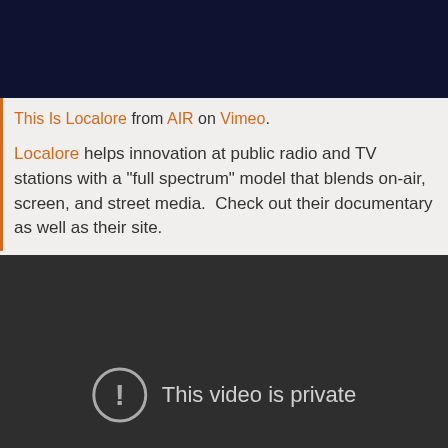[Figure (screenshot): Dark navy blue video player header area]
This Is Localore from AIR on Vimeo.
Localore helps innovation at public radio and TV stations with a "full spectrum" model that blends on-air, screen, and street media.  Check out their documentary as well as their site.
[Figure (screenshot): Dark gray video embed showing 'This video is private' message with a circular exclamation icon]